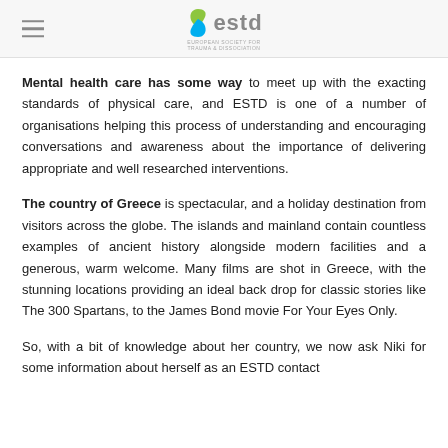estd
Mental health care has some way to meet up with the exacting standards of physical care, and ESTD is one of a number of organisations helping this process of understanding and encouraging conversations and awareness about the importance of delivering appropriate and well researched interventions.
The country of Greece is spectacular, and a holiday destination from visitors across the globe. The islands and mainland contain countless examples of ancient history alongside modern facilities and a generous, warm welcome. Many films are shot in Greece, with the stunning locations providing an ideal back drop for classic stories like The 300 Spartans, to the James Bond movie For Your Eyes Only.
So, with a bit of knowledge about her country, we now ask Niki for some information about herself as an ESTD contact